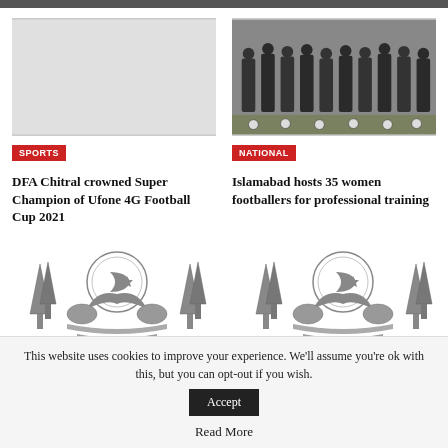[Figure (photo): No image (blank placeholder) for SPORTS article]
[Figure (photo): Photo of women footballers standing on a field with soccer balls for NATIONAL article]
SPORTS
NATIONAL
DFA Chitral crowned Super Champion of Ufone 4G Football Cup 2021
Islamabad hosts 35 women footballers for professional training
[Figure (logo): The Nation newspaper logo with Pakistani crest emblem - left]
[Figure (logo): The Nation newspaper logo with Pakistani crest emblem - right]
SPORTS
SPORTS
This website uses cookies to improve your experience. We'll assume you're ok with this, but you can opt-out if you wish.
Accept
Read More